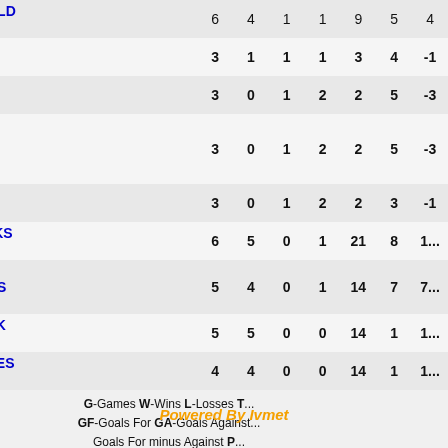| Team | G | W | L | T | GF | GA | Pts |
| --- | --- | --- | --- | --- | --- | --- | --- |
| WOOLWICH WILD #7103 | 6 | 4 | 1 | 1 | 9 | 5 | ... |
| KINGSTON ICE WOLVES #2603 | 3 | 1 | 1 | 1 | 3 | 4 | -... |
| BUFFALO BISONS | 3 | 0 | 1 | 2 | 2 | 5 | -... |
| SAUGEEN-MAITLAND LIGHTNING #8835 | 3 | 0 | 1 | 2 | 2 | 5 | -... |
| CLARINGTON FLAMES #3909 | 3 | 0 | 1 | 2 | 2 | 3 | -... |
| BARRIE SHARKS #116 | 6 | 5 | 0 | 1 | 21 | 8 | 1... |
| CAMBRIDGE ROADRUNNERS #2210 | 5 | 4 | 0 | 1 | 14 | 7 | 7... |
| STONEY CREEK SABRES #3411 | 5 | 5 | 0 | 0 | 14 | 1 | 1... |
| WHITBY WOLVES #4841 | 4 | 4 | 0 | 0 | 14 | 1 | 1... |
G-Games W-Wins L-Losses T GF-Goals For GA-Goals Against Goals For minus Against P DisciplineTimeLength Pts-Points
Powered By Ivmet